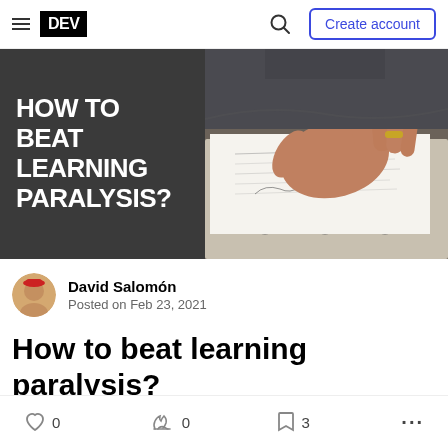DEV — Create account
[Figure (screenshot): Hero banner with dark left panel showing 'HOW TO BEAT LEARNING PARALYSIS?' in white bold text, and right side showing a photo of a hand resting on an open notebook/binder]
David Salomón
Posted on Feb 23, 2021
How to beat learning paralysis?
♡ 0   🔥 0   🔖 3   ...